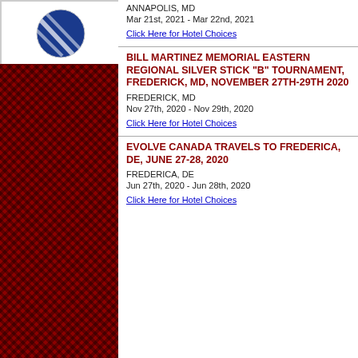[Figure (logo): Blue circular logo with diagonal lines/stripes on white background in top left sidebar]
ANNAPOLIS, MD
Mar 21st, 2021 - Mar 22nd, 2021
Click Here for Hotel Choices
BILL MARTINEZ MEMORIAL EASTERN REGIONAL SILVER STICK "B" TOURNAMENT, FREDERICK, MD, NOVEMBER 27TH-29TH 2020
FREDERICK, MD
Nov 27th, 2020 - Nov 29th, 2020
Click Here for Hotel Choices
EVOLVE CANADA TRAVELS TO FREDERICA, DE, JUNE 27-28, 2020
FREDERICA, DE
Jun 27th, 2020 - Jun 28th, 2020
Click Here for Hotel Choices